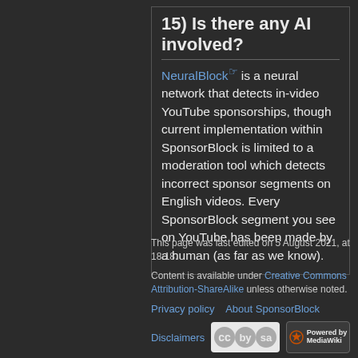15) Is there any AI involved?
NeuralBlock is a neural network that detects in-video YouTube sponsorships, though current implementation within SponsorBlock is limited to a moderation tool which detects incorrect sponsor segments on English videos. Every SponsorBlock segment you see on YouTube has been made by a human (as far as we know).
This page was last edited on 5 August 2021, at 18:18.

Content is available under Creative Commons Attribution-ShareAlike unless otherwise noted.

Privacy policy   About SponsorBlock

Disclaimers